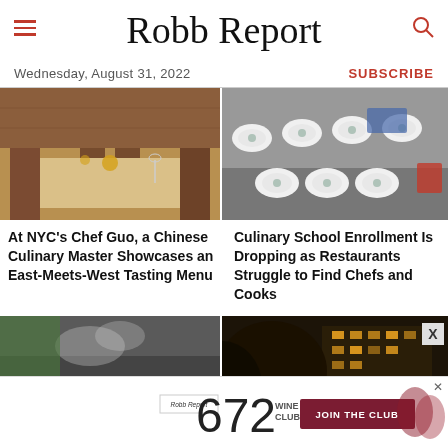Robb Report
Wednesday, August 31, 2022
SUBSCRIBE
[Figure (photo): Elegant restaurant dining room with tables set with white linens, glassware, and golden decorations]
[Figure (photo): Commercial kitchen counter with numerous white bowls plated with food being prepared]
At NYC's Chef Guo, a Chinese Culinary Master Showcases an East-Meets-West Tasting Menu
Culinary School Enrollment Is Dropping as Restaurants Struggle to Find Chefs and Cooks
[Figure (photo): Close-up of grilling or cooking food on a metal surface, smoke rising]
[Figure (photo): Night scene with illuminated building and trees lit from below]
[Figure (advertisement): Robb Report 672 Wine Club advertisement with JOIN THE CLUB button and wine glasses]